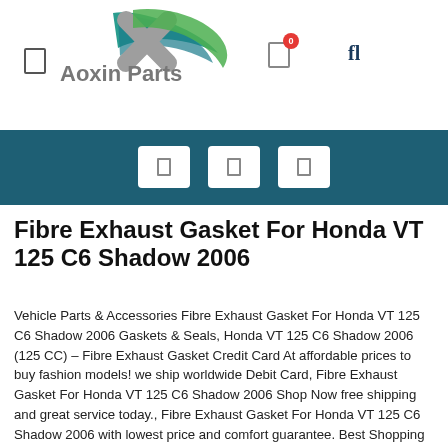[Figure (logo): Aoxin Parts logo with stylized X shape in teal and grey, with text 'Aoxin Parts' below in grey]
Fibre Exhaust Gasket For Honda VT 125 C6 Shadow 2006
Vehicle Parts & Accessories Fibre Exhaust Gasket For Honda VT 125 C6 Shadow 2006 Gaskets & Seals, Honda VT 125 C6 Shadow 2006 (125 CC) – Fibre Exhaust Gasket Credit Card At affordable prices to buy fashion models! we ship worldwide Debit Card, Fibre Exhaust Gasket For Honda VT 125 C6 Shadow 2006 Shop Now free shipping and great service today., Fibre Exhaust Gasket For Honda VT 125 C6 Shadow 2006 with lowest price and comfort guarantee. Best Shopping Deals Online.